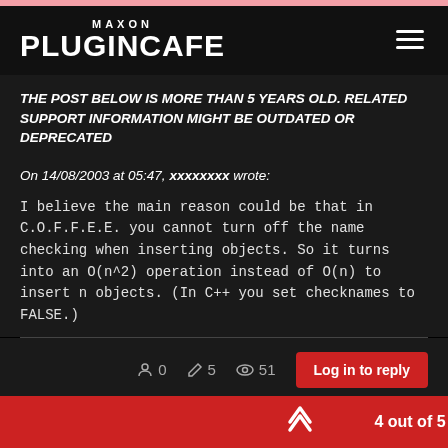MAXON PLUGINCAFE
THE POST BELOW IS MORE THAN 5 YEARS OLD. RELATED SUPPORT INFORMATION MIGHT BE OUTDATED OR DEPRECATED
On 14/08/2003 at 05:47, xxxxxxxx wrote:
I believe the main reason could be that in C.O.F.F.E.E. you cannot turn off the name checking when inserting objects. So it turns into an O(n^2) operation instead of O(n) to insert n objects. (In C++ you set checknames to FALSE.)
0  5  51  Log in to reply  4 out of 5